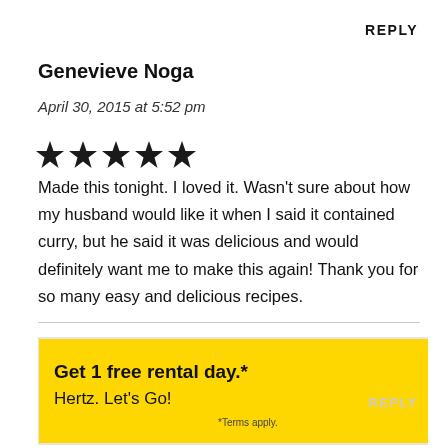REPLY
Genevieve Noga
April 30, 2015 at 5:52 pm
[Figure (other): Five filled star rating icons]
Made this tonight. I loved it. Wasn't sure about how my husband would like it when I said it contained curry, but he said it was delicious and would definitely want me to make this again! Thank you for so many easy and delicious recipes.
[Figure (other): Hertz advertisement banner: Get 1 free rental day.* Hertz. Let's Go! Book Now. *Terms apply.]
REPLY